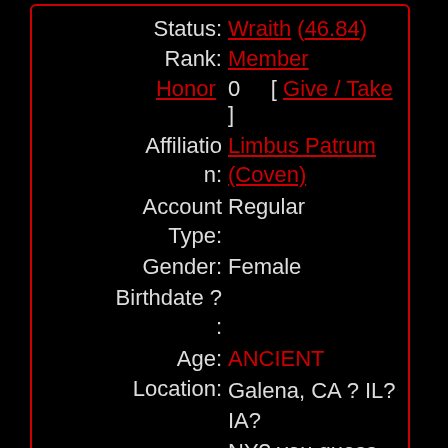| Status: | Wraith (46.84) |
| Rank: | Member |
| Honor: | 0    [ Give / Take ] |
| Affiliation: | Limbus Patrum (Coven) |
| Account Type: | Regular |
| Gender: | Female |
| Birthdate: | ? |
| Age: | ANCIENT |
| Location: | Galena, CA ? IL? IA? NY? you guess |